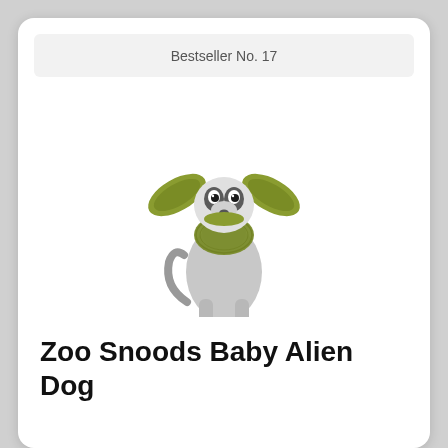Bestseller No. 17
[Figure (photo): A small Chihuahua dog wearing a green knitted alien/Yoda-style snood costume with large ears, sitting on a white background.]
Zoo Snoods Baby Alien Dog